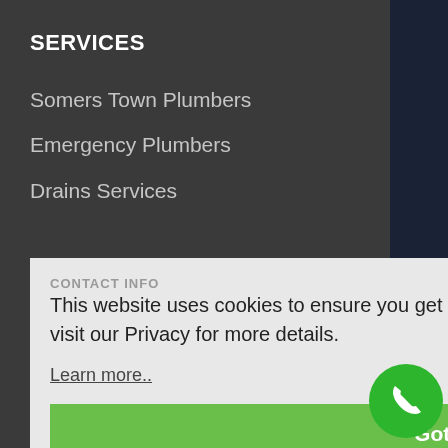SERVICES
Somers Town Plumbers
Emergency Plumbers
Drains Services
CONTACT INFO
This website uses cookies to ensure you get the best experience on our website. Please visit our Privacy for more details.
Learn more..
Got it!
[Figure (illustration): Green circular phone call button icon in bottom right corner]